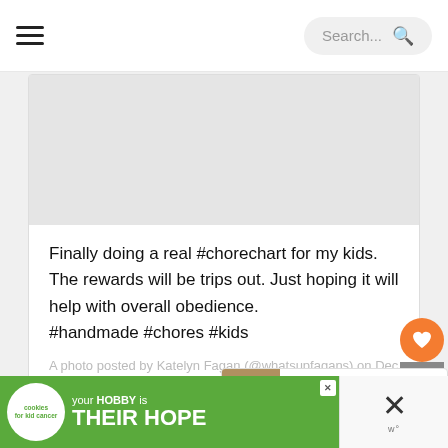Search...
[Figure (photo): Image placeholder / embedded photo area (gray rectangle)]
Finally doing a real #chorechart for my kids. The rewards will be trips out. Just hoping it will help with overall obedience. #handmade #chores #kids
A photo posted by Katelyn Fagan (@whatsupfagans) on Dec
[Figure (infographic): What's Next widget showing thumbnail and text: Improve Your Family Life...]
[Figure (photo): Advertisement banner: cookies for kid cancer - your HOBBY is their HOPE]